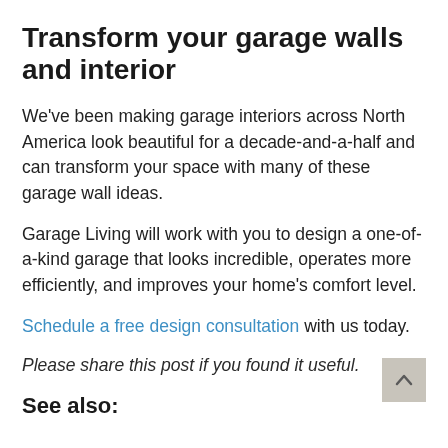Transform your garage walls and interior
We've been making garage interiors across North America look beautiful for a decade-and-a-half and can transform your space with many of these garage wall ideas.
Garage Living will work with you to design a one-of-a-kind garage that looks incredible, operates more efficiently, and improves your home's comfort level.
Schedule a free design consultation with us today.
Please share this post if you found it useful.
See also: